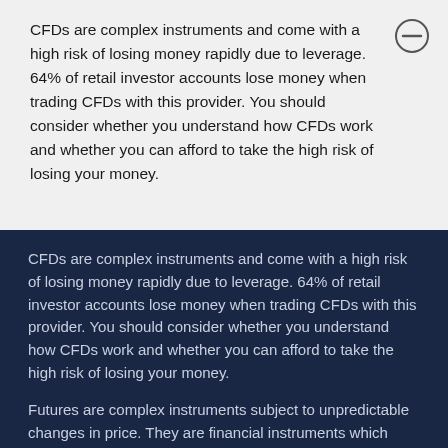CFDs are complex instruments and come with a high risk of losing money rapidly due to leverage. 64% of retail investor accounts lose money when trading CFDs with this provider. You should consider whether you understand how CFDs work and whether you can afford to take the high risk of losing your money.
CFDs are complex instruments and come with a high risk of losing money rapidly due to leverage. 64% of retail investor accounts lose money when trading CFDs with this provider. You should consider whether you understand how CFDs work and whether you can afford to take the high risk of losing your money.
Futures are complex instruments subject to unpredictable changes in price. They are financial instruments which offer the investor the possibility to use leverage. The use of leverage implies the risk of losing more than the total value of the account.
Investments in digital assets are considered highly speculative investments and are subject to high volatility and therefore may not be suitable for all investors. Each investor should consider carefully, and possibly with external advice, whether digital assets are suitable for them. Make sure you understand any